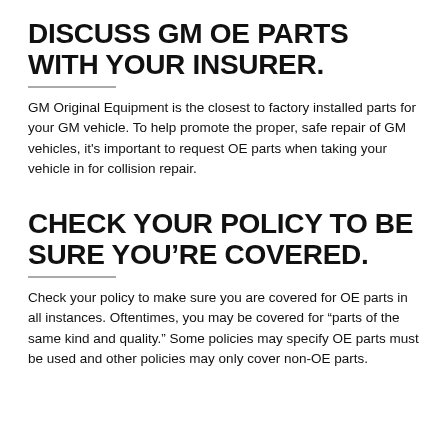DISCUSS GM OE PARTS WITH YOUR INSURER.
GM Original Equipment is the closest to factory installed parts for your GM vehicle. To help promote the proper, safe repair of GM vehicles, it's important to request OE parts when taking your vehicle in for collision repair.
CHECK YOUR POLICY TO BE SURE YOU'RE COVERED.
Check your policy to make sure you are covered for OE parts in all instances. Oftentimes, you may be covered for “parts of the same kind and quality.” Some policies may specify OE parts must be used and other policies may only cover non-OE parts.